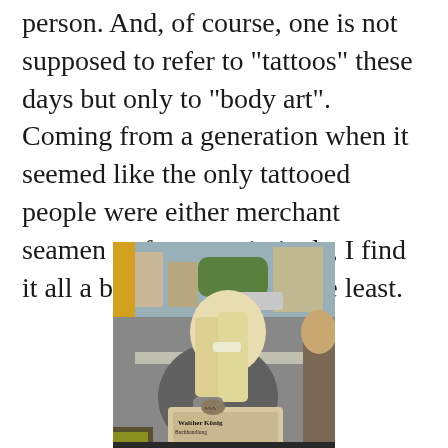person. And, of course, one is not supposed to refer to “tattoos” these days but only to “body art”.  Coming from a generation when it seemed like the only tattooed people were either merchant seamen or former criminals, I find it all a bit strange, to say the least.
[Figure (photo): A blonde woman wearing glasses sits on a bus or train, looking down at a tote bag with text reading 'Walther König Buchhandlung' (a German bookstore). She wears a grey top. Behind her is a window with an urban street scene visible.]